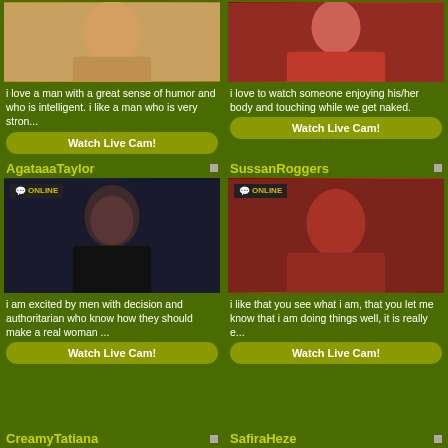[Figure (photo): Woman photo top left - partially visible]
i love a man with a great sense of humor and who is intelligent. i like a man who is very stron...
Watch Live Cam!
[Figure (photo): Woman in red on bed, top right]
i love to watch someone enjoying his/her body and touching while we get naked.
Watch Live Cam!
AgataaaTaylor
[Figure (photo): Woman in black dress with online badge]
i am excited by men with decision and authoritarian who know how they should make a real woman ...
Watch Live Cam!
SussanRoggers
[Figure (photo): Woman in red jacket lying down with online badge]
i like that you see what i am, that you let me know that i am doing things well, it is really e...
Watch Live Cam!
CreamyTatiana
SafiraHeze